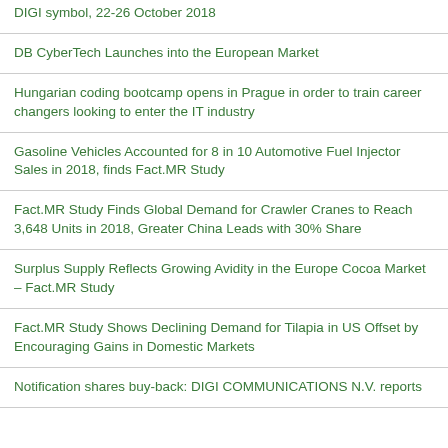DIGI symbol, 22-26 October 2018
DB CyberTech Launches into the European Market
Hungarian coding bootcamp opens in Prague in order to train career changers looking to enter the IT industry
Gasoline Vehicles Accounted for 8 in 10 Automotive Fuel Injector Sales in 2018, finds Fact.MR Study
Fact.MR Study Finds Global Demand for Crawler Cranes to Reach 3,648 Units in 2018, Greater China Leads with 30% Share
Surplus Supply Reflects Growing Avidity in the Europe Cocoa Market – Fact.MR Study
Fact.MR Study Shows Declining Demand for Tilapia in US Offset by Encouraging Gains in Domestic Markets
Notification shares buy-back: DIGI COMMUNICATIONS N.V. reports